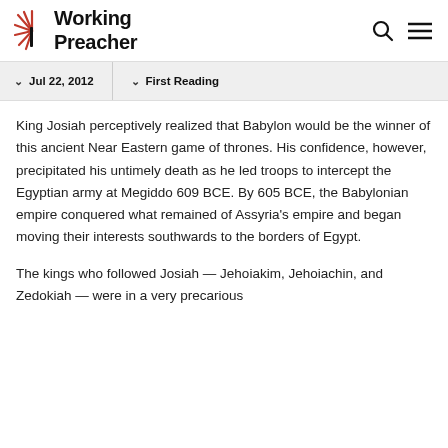Working Preacher
Jul 22, 2012   First Reading
King Josiah perceptively realized that Babylon would be the winner of this ancient Near Eastern game of thrones. His confidence, however, precipitated his untimely death as he led troops to intercept the Egyptian army at Megiddo 609 BCE. By 605 BCE, the Babylonian empire conquered what remained of Assyria's empire and began moving their interests southwards to the borders of Egypt.
The kings who followed Josiah — Jehoiakim, Jehoiachin, and Zedokiah — were in a very precarious